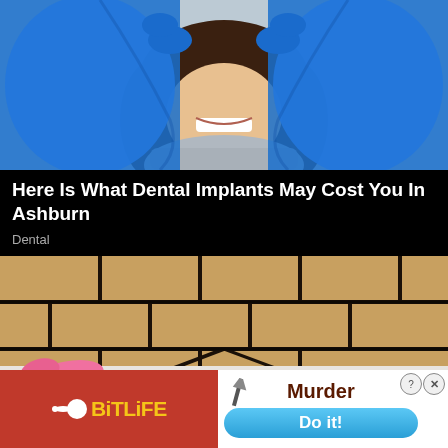[Figure (photo): Dental photo: dentist in blue gloves examining patient's teeth, patient smiling in dental chair]
Here Is What Dental Implants May Cost You In Ashburn
Dental
[Figure (photo): Photo of bathroom tiles with dark mold/dirt in grout lines, pink gloved hand pointing at corner]
[Figure (screenshot): BitLife app advertisement with red background and yellow logo text]
[Figure (screenshot): Mobile game ad showing 'Murder' text with knife and 'Do it!' blue button, with close/X buttons]